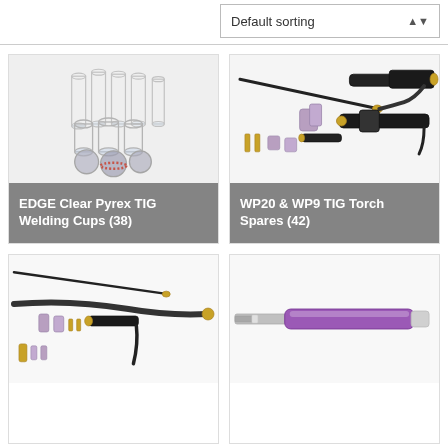Default sorting
[Figure (photo): EDGE Clear Pyrex TIG Welding Cups - collection of clear glass/pyrex welding cups of various sizes]
EDGE Clear Pyrex TIG Welding Cups (38)
[Figure (photo): WP20 & WP9 TIG Torch Spares - assorted TIG torch spare parts including ceramic cups, collets, and torch bodies]
WP20 & WP9 TIG Torch Spares (42)
[Figure (photo): TIG torch spares parts - assorted components including hoses, ceramic cups, and fittings]
[Figure (photo): Purple/pink welding torch pen or electrode]